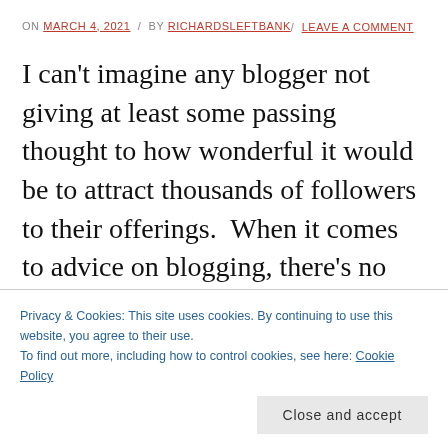ON MARCH 4, 2021 / BY RICHARDSLEFTBANK / LEAVE A COMMENT
I can't imagine any blogger not giving at least some passing thought to how wonderful it would be to attract thousands of followers to their offerings.  When it comes to advice on blogging, there's no end of those who claim they can reveal the secrets of success. Having been born in the cretaceous period, I
Privacy & Cookies: This site uses cookies. By continuing to use this website, you agree to their use. To find out more, including how to control cookies, see here: Cookie Policy